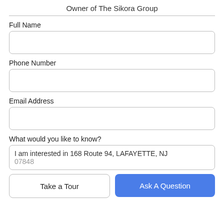Owner of The Sikora Group
Full Name
Phone Number
Email Address
What would you like to know?
I am interested in 168 Route 94, LAFAYETTE, NJ
07848
Take a Tour
Ask A Question